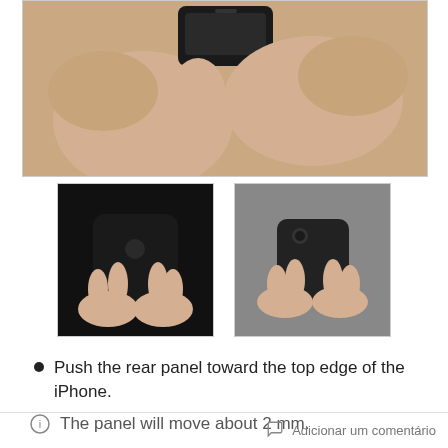[Figure (photo): Hands holding and pushing the rear panel of an iPhone toward the top edge]
[Figure (photo): Left thumbnail: hands holding black iPhone from the back; Right thumbnail: hands sliding the rear panel off the iPhone]
Push the rear panel toward the top edge of the iPhone.
The panel will move about 2 mm.
Adicionar um comentário